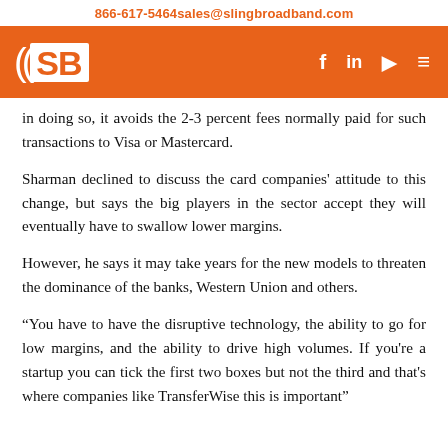866-617-5464   sales@slingbroadband.com
[Figure (logo): Sling Broadband logo on orange bar with social media icons (Facebook, LinkedIn, YouTube, menu)]
in doing so, it avoids the 2-3 percent fees normally paid for such transactions to Visa or Mastercard.
Sharman declined to discuss the card companies' attitude to this change, but says the big players in the sector accept they will eventually have to swallow lower margins.
However, he says it may take years for the new models to threaten the dominance of the banks, Western Union and others.
“You have to have the disruptive technology, the ability to go for low margins, and the ability to drive high volumes. If you're a startup you can tick the first two boxes but not the third and that's where companies like TransferWise this is important”